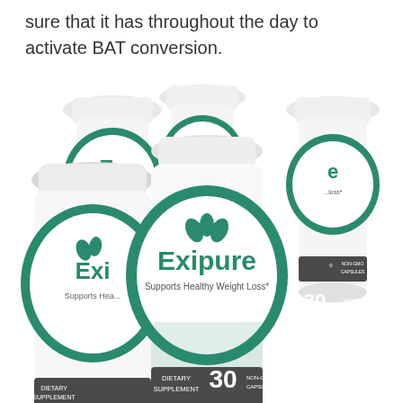sure that it has throughout the day to activate BAT conversion.
[Figure (photo): Five white supplement bottles labeled 'Exipure – Supports Healthy Weight Loss' with teal/green leaf design, arranged in a group. Bottles show '30 NON-GMO CAPSULES' and 'DIETARY SUPPLEMENT' labels. The front-center bottle is most prominent.]